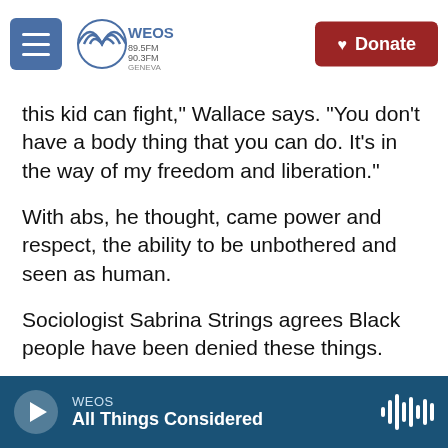WEOS 89.5FM 90.3FM Geneva | Donate
this kid can fight,” Wallace says. “You don’t have a body thing that you can do. It’s in the way of my freedom and liberation.”
With abs, he thought, came power and respect, the ability to be unbothered and seen as human.
Sociologist Sabrina Strings agrees Black people have been denied these things.
“It really comes down to a question of, do we get to experience our full humanity as Black people?” she says. “And that’s largely denied to folks who are deemed to look inappropriate for white spaces.”
WEOS | All Things Considered